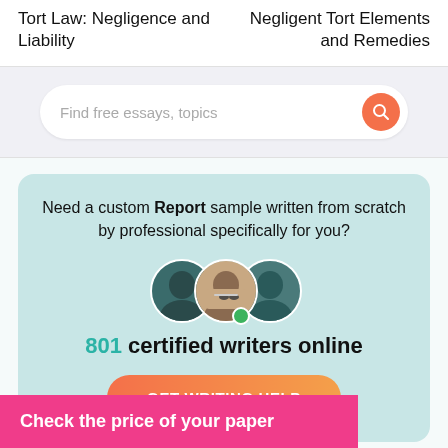Tort Law: Negligence and Liability
Negligent Tort Elements and Remedies
[Figure (screenshot): Search bar with placeholder text 'Find free essays, topics' and an orange search button]
[Figure (infographic): Teal promotional box: 'Need a custom Report sample written from scratch by professional specifically for you?' with 801 certified writers online and GET WRITING HELP button]
Check the price of your paper